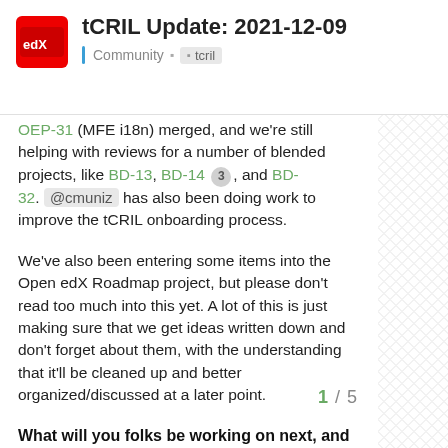tCRIL Update: 2021-12-09 | Community | tcril
OEP-31 (MFE i18n) merged, and we're still helping with reviews for a number of blended projects, like BD-13, BD-14 3, and BD-32. @cmuniz has also been doing work to improve the tCRIL onboarding process.
We've also been entering some items into the Open edX Roadmap project, but please don't read too much into this yet. A lot of this is just making sure that we get ideas written down and don't forget about them, with the understanding that it'll be cleaned up and better organized/discussed at a later point.
What will you folks be working on next, and how do I stay in the loop?
The work mentioned above is likely going to take until at least the New Year. A lot ca between now and then, but some c
1 / 5